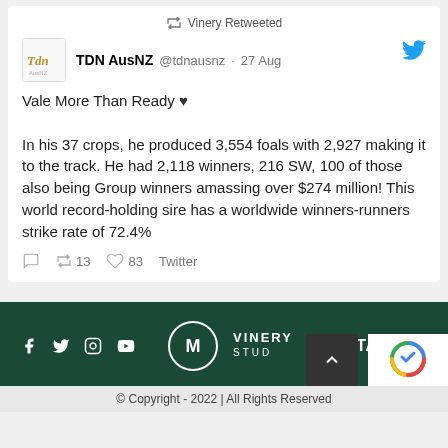Vinery Retweeted
TDN AusNZ @tdnausnz · 27 Aug
Vale More Than Ready ♥

In his 37 crops, he produced 3,554 foals with 2,927 making it to the track. He had 2,118 winners, 216 SW, 100 of those also being Group winners amassing over $274 million! This world record-holding sire has a worldwide winners-runners strike rate of 72.4%
13  83  Twitter
[Figure (logo): Vinery Stud logo with social media icons (Facebook, Twitter, Instagram, YouTube) and CONTACT US link on dark green footer background]
© Copyright - 2022 | All Rights Reserved